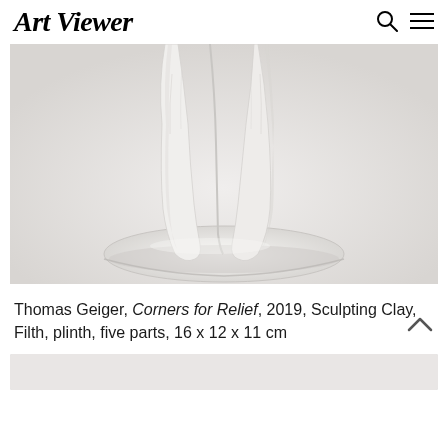Art Viewer
[Figure (photo): Close-up photo of the base of a white sculpting clay figure titled 'Corners for Relief' by Thomas Geiger. The sculpture shows legs/lower body in white clay sitting on an oval clay base, photographed against a light gray/white background.]
Thomas Geiger, Corners for Relief, 2019, Sculpting Clay, Filth, plinth, five parts, 16 x 12 x 11 cm
[Figure (photo): Partial view of another artwork image at the bottom of the page, showing a light grey/white composition.]